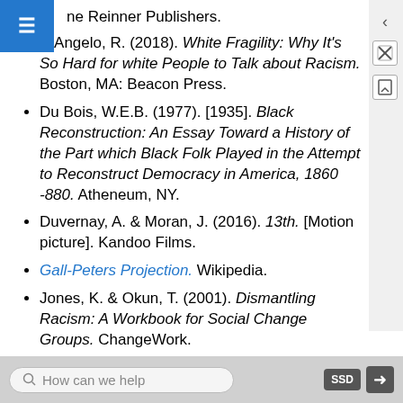ne Reinner Publishers.
DiAngelo, R. (2018). White Fragility: Why It's So Hard for white People to Talk about Racism. Boston, MA: Beacon Press.
Du Bois, W.E.B. (1977). [1935]. Black Reconstruction: An Essay Toward a History of the Part which Black Folk Played in the Attempt to Reconstruct Democracy in America, 1860 -880. Atheneum, NY.
Duvernay, A. & Moran, J. (2016). 13th. [Motion picture]. Kandoo Films.
Gall-Peters Projection. Wikipedia.
Jones, K. & Okun, T. (2001). Dismantling Racism: A Workbook for Social Change Groups. ChangeWork.